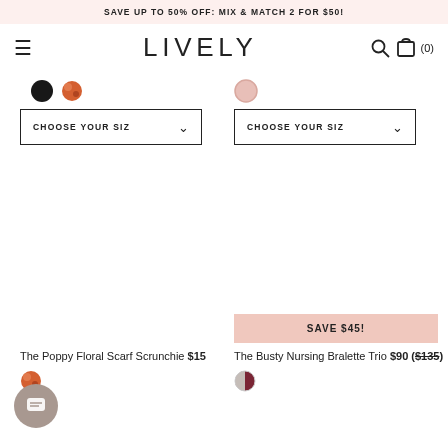SAVE UP TO 50% OFF: MIX & MATCH 2 FOR $50!
LIVELY
The Poppy Floral Scarf Scrunchie $15
The Busty Nursing Bralette Trio $90 ($135)